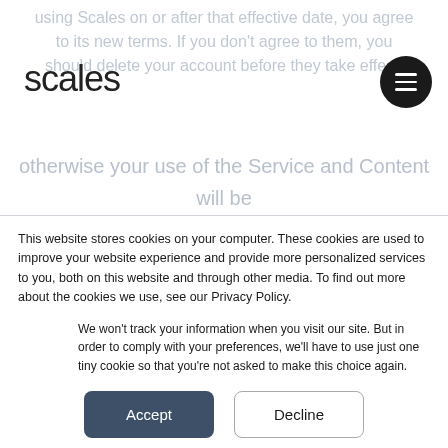using Scales on or after that effective date, you agree to its new terms. If you don't agree to them, you should delete your account before they take effect,
scales
otherwise your use of the Service and Content will be subject to the new Terms.
Managing and
This website stores cookies on your computer. These cookies are used to improve your website experience and provide more personalized services to you, both on this website and through other media. To find out more about the cookies we use, see our Privacy Policy.
We won't track your information when you visit our site. But in order to comply with your preferences, we'll have to use just one tiny cookie so that you're not asked to make this choice again.
Accept
Decline